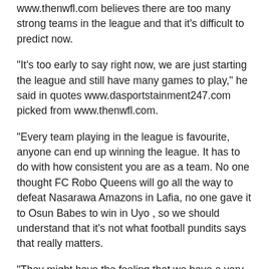www.thenwfl.com believes there are too many strong teams in the league and that it's difficult to predict now.
"It's too early to say right now, we are just starting the league and still have many games to play," he said in quotes www.dasportstainment247.com picked from www.thenwfl.com.
"Every team playing in the league is favourite, anyone can end up winning the league. It has to do with how consistent you are as a team. No one thought FC Robo Queens will go all the way to defeat Nasarawa Amazons in Lafia, no one gave it to Osun Babes to win in Uyo , so we should understand that it's not what football pundits says that really matters.
"They might have the feeling that we have a very good squad and even the bench is filled with good players, we won the Flying Officers Cup and also won our first game against Sunshine Queens, but these things goes beyond just few